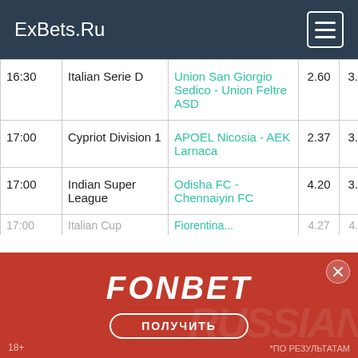ExBets.Ru
| Time | League | Match | 1 | X | 2 |
| --- | --- | --- | --- | --- | --- |
| 16:30 | Italian Serie D | Union San Giorgio Sedico - Union Feltre ASD | 2.60 | 3.13 | 2.58 |
| 17:00 | Cypriot Division 1 | APOEL Nicosia - AEK Larnaca | 2.37 | 3.18 | 2.82 |
| 17:00 | Indian Super League | Odisha FC - Chennaiyin FC | 4.20 | 3.65 | 1.76 |
| 17:00 | Italian Cup | Fiorentina... | 4.27 | 4.05 | 1.71 |
[Figure (infographic): FONBET advertisement banner with red background, FONBET logo, ПОЛУЧИТЬ button, 18+ label and Russian text]